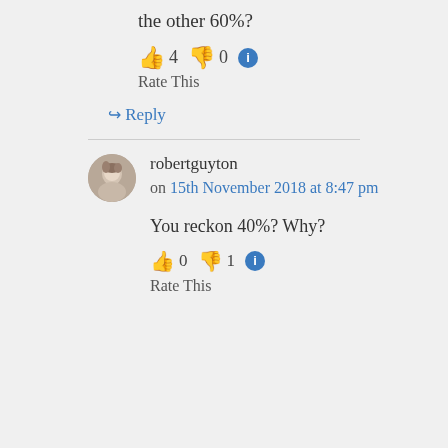the other 60%?
👍 4 👎 0 ℹ Rate This
↪ Reply
robertguyton on 15th November 2018 at 8:47 pm
You reckon 40%? Why?
👍 0 👎 1 ℹ Rate This